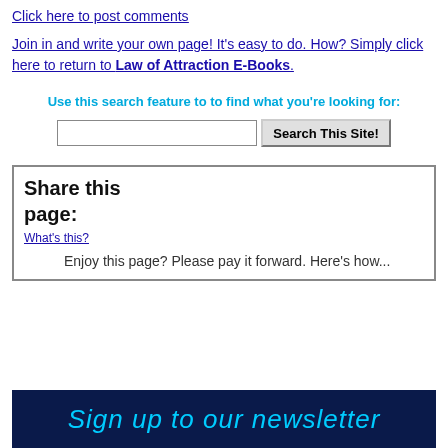Click here to post comments
Join in and write your own page! It's easy to do. How? Simply click here to return to Law of Attraction E-Books.
Use this search feature to to find what you're looking for:
Share this page:
What's this?
Enjoy this page? Please pay it forward. Here's how...
[Figure (screenshot): Sign up to our newsletter banner with dark navy background and cyan cursive text]